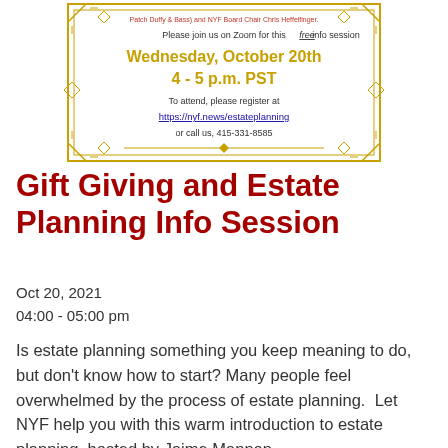[Figure (other): Decorative gold-bordered flyer box with event registration details including date Wednesday October 20th 4-5 p.m. PST and registration link https://nyf.news/estateplanning]
Gift Giving and Estate Planning Info Session
Oct 20, 2021
04:00 - 05:00 pm
Is estate planning something you keep meaning to do, but don't know how to start? Many people feel overwhelmed by the process of estate planning.  Let NYF help you with this warm introduction to estate planning, hosted by Jaime Mannon